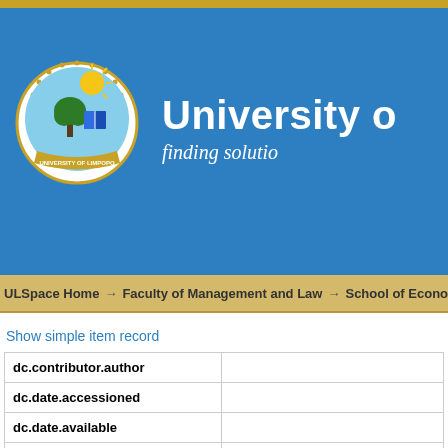University of Limpopo — finding solutions
ULSpace Home → Faculty of Management and Law → School of Economics
Show simple item record
| Field | Value |
| --- | --- |
| dc.contributor.author |  |
| dc.date.accessioned |  |
| dc.date.available |  |
| dc.date.issued |  |
| dc.identifier.uri |  |
| dc.description |  |
| dc.description.abstract | The mining industry plays a positive strategic... by many socio-economic challenges. It co... escalating overhead mining costs, labour pr... |